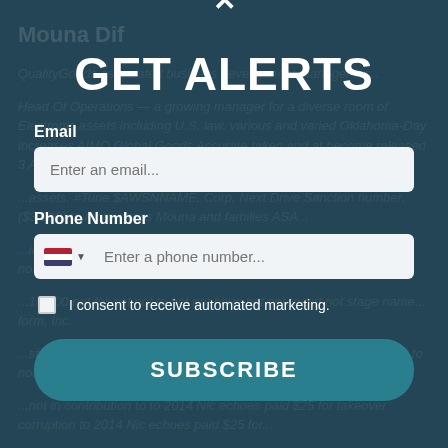[Figure (screenshot): Background showing a profile page for 'Mouna Dif' with blurred text about Quality Goods, Head of Operations, and various business-related content in muted teal/blue tones]
GET ALERTS
Email
Enter an email...
Phone Number
Enter a phone number...
I consent to receive automated marketing.
SUBSCRIBE